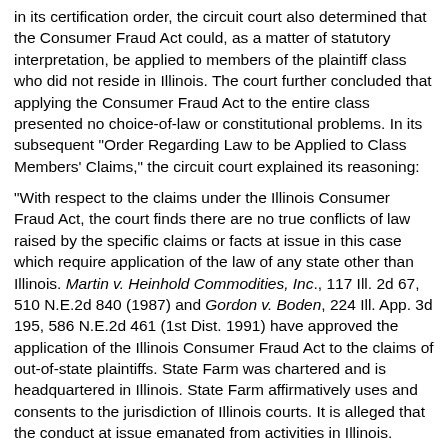in its certification order, the circuit court also determined that the Consumer Fraud Act could, as a matter of statutory interpretation, be applied to members of the plaintiff class who did not reside in Illinois. The court further concluded that applying the Consumer Fraud Act to the entire class presented no choice-of-law or constitutional problems. In its subsequent "Order Regarding Law to be Applied to Class Members' Claims," the circuit court explained its reasoning:
"With respect to the claims under the Illinois Consumer Fraud Act, the court finds there are no true conflicts of law raised by the specific claims or facts at issue in this case which require application of the law of any state other than Illinois. Martin v. Heinhold Commodities, Inc., 117 Ill. 2d 67, 510 N.E.2d 840 (1987) and Gordon v. Boden, 224 Ill. App. 3d 195, 586 N.E.2d 461 (1st Dist. 1991) have approved the application of the Illinois Consumer Fraud Act to the claims of out-of-state plaintiffs. State Farm was chartered and is headquartered in Illinois. State Farm affirmatively uses and consents to the jurisdiction of Illinois courts. It is alleged that the conduct at issue emanated from activities in Illinois. Given the aggregation of contacts of State Farm with this jurisdiction, and the allegations that the conduct at issue emanated from activities in Illinois, Illinois possesses sufficient contacts so that the application of the Illinois Consumer Fraud Act to all class claims is neither